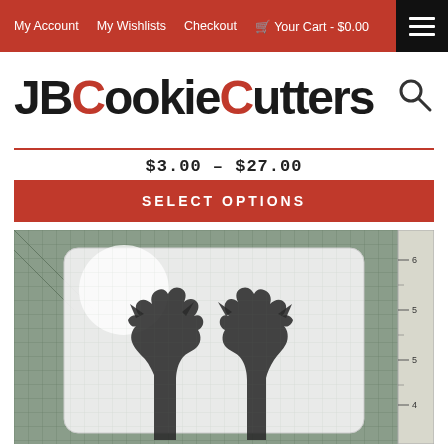My Account  My Wishlists  Checkout  Your Cart - $0.00
JBCookieCutters
$3.00 – $27.00
SELECT OPTIONS
[Figure (photo): Photo of two batman/catwoman silhouette cookie cutter stencils placed on a cutting mat with ruler markings on the right side]